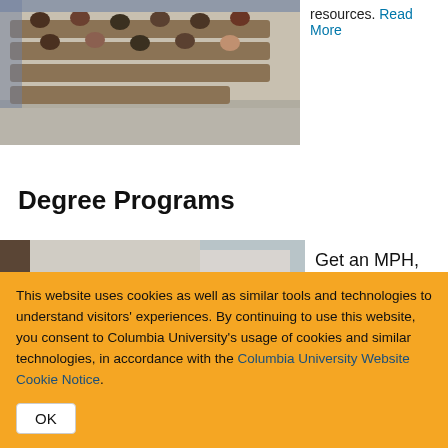[Figure (photo): Students sitting in a lecture hall auditorium with wooden seats, viewed from the side]
resources. Read More
Degree Programs
[Figure (photo): Students in a classroom setting, viewed from the side]
Get an MPH, MS, DrPH, or PhD in
This website uses cookies as well as similar tools and technologies to understand visitors' experiences. By continuing to use this website, you consent to Columbia University's usage of cookies and similar technologies, in accordance with the Columbia University Website Cookie Notice.